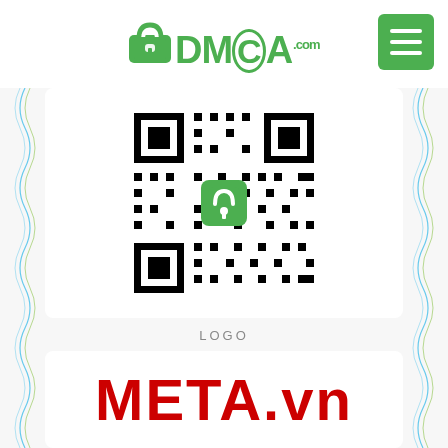[Figure (logo): DMCA.com logo with green padlock and text]
[Figure (other): Green hamburger menu button in top right corner]
[Figure (other): QR code with DMCA green padlock logo centered on it, on certificate background with decorative blue and green border lines]
LOGO
META.vn